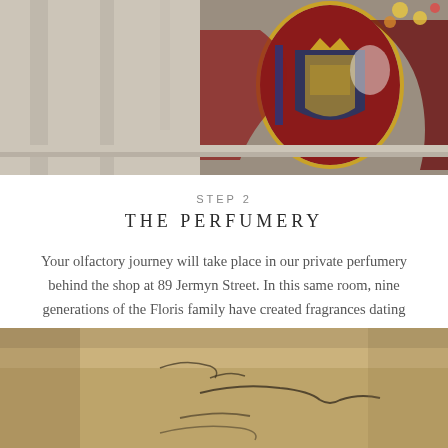[Figure (photo): Exterior architectural detail of building facade with ornate royal coat of arms or crest in red and gold, with flowers visible at top right]
STEP 2
THE PERFUMERY
Your olfactory journey will take place in our private perfumery behind the shop at 89 Jermyn Street. In this same room, nine generations of the Floris family have created fragrances dating back to the year 1730.
[Figure (photo): Close-up of an aged handwritten document or letter with cursive script, soft focus, warm sepia tones]